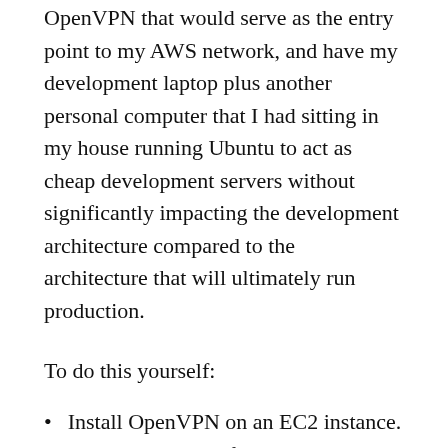OpenVPN that would serve as the entry point to my AWS network, and have my development laptop plus another personal computer that I had sitting in my house running Ubuntu to act as cheap development servers without significantly impacting the development architecture compared to the architecture that will ultimately run production.
To do this yourself:
Install OpenVPN on an EC2 instance. There are plenty of tutorials out there that can help you with this, for example this one. I know that AWS has its own VPN solution, but using it would defeat the purpose of keeping everything as cheap as possible.